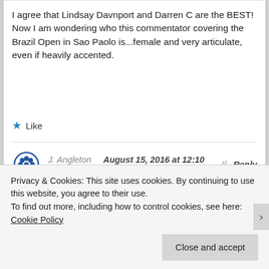I agree that Lindsay Davnport and Darren C are the BEST! Now I am wondering who this commentator covering the Brazil Open in Sao Paolo is...female and very articulate, even if heavily accented.
★ Like
J. Angleton // August 15, 2016 at 12:10 pm // Reply
Love James Blake as tennis player, and great
Privacy & Cookies: This site uses cookies. By continuing to use this website, you agree to their use.
To find out more, including how to control cookies, see here: Cookie Policy
Close and accept